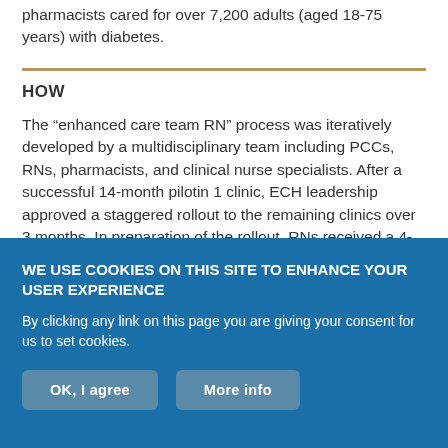pharmacists cared for over 7,200 adults (aged 18-75 years) with diabetes.
HOW
The “enhanced care team RN” process was iteratively developed by a multidisciplinary team including PCCs, RNs, pharmacists, and clinical nurse specialists. After a successful 14-month pilotin 1 clinic, ECH leadership approved a staggered rollout to the remaining clinics over 3 months. In preparation of the rollout, RNs received a 4-hour education session and an electronic health record (EHR) documentation guide was developed. Each RCC was paired with an
WE USE COOKIES ON THIS SITE TO ENHANCE YOUR USER EXPERIENCE

By clicking any link on this page you are giving your consent for us to set cookies.